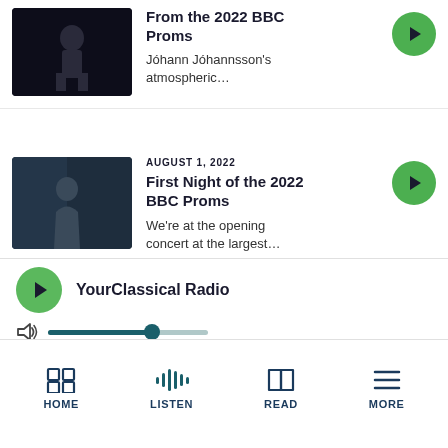[Figure (screenshot): Mobile app screenshot showing a classical music podcast/radio app with a list of episodes and a now-playing bar at bottom]
From the 2022 BBC Proms – Jóhann Jóhannsson's atmospheric…
AUGUST 1, 2022 – First Night of the 2022 BBC Proms – We're at the opening concert at the largest…
JULY 25, 2022 – Saint Paul Chamber Orchestra – Ruth Reinhardt leads
YourClassical Radio
HOME | LISTEN | READ | MORE